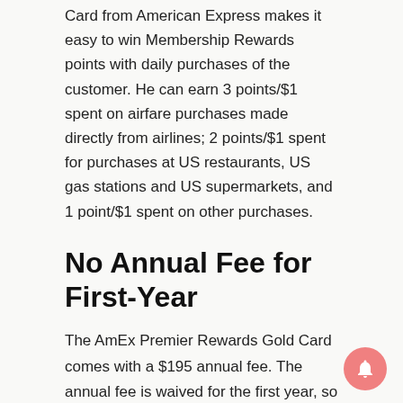Card from American Express makes it easy to win Membership Rewards points with daily purchases of the customer. He can earn 3 points/$1 spent on airfare purchases made directly from airlines; 2 points/$1 spent for purchases at US restaurants, US gas stations and US supermarkets, and 1 point/$1 spent on other purchases.
No Annual Fee for First-Year
The AmEx Premier Rewards Gold Card comes with a $195 annual fee. The annual fee is waived for the first year, so any value a customer receives the first year (including MRP) is automatically an edge point. But the $195 fee will be charged at the first annual